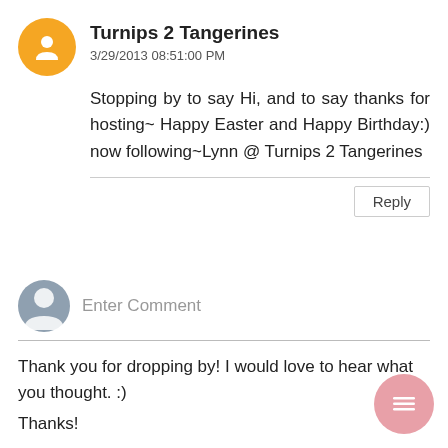Turnips 2 Tangerines
3/29/2013 08:51:00 PM
Stopping by to say Hi, and to say thanks for hosting~ Happy Easter and Happy Birthday:) now following~Lynn @ Turnips 2 Tangerines
Reply
Enter Comment
Thank you for dropping by! I would love to hear what you thought. :)
Thanks!